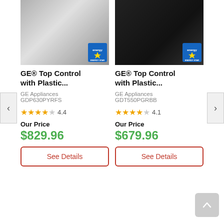[Figure (screenshot): Product listing page showing two GE dishwashers side by side with Energy Star badges, star ratings, prices, and See Details buttons]
GE® Top Control with Plastic...
GE Appliances
GDP630PYRFS
4.4
Our Price
$829.96
See Details
GE® Top Control with Plastic...
GE Appliances
GDT550PGRBB
4.1
Our Price
$679.96
See Details